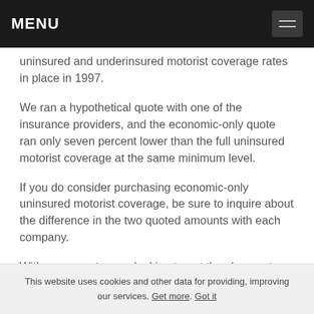MENU
uninsured and underinsured motorist coverage rates in place in 1997.
We ran a hypothetical quote with one of the insurance providers, and the economic-only quote ran only seven percent lower than the full uninsured motorist coverage at the same minimum level.
If you do consider purchasing economic-only uninsured motorist coverage, be sure to inquire about the difference in the two quoted amounts with each company.
With many customers looking to get the cheapest rate, your insurance company may try to entice you with the
This website uses cookies and other data for providing, improving our services. Get more. Got it